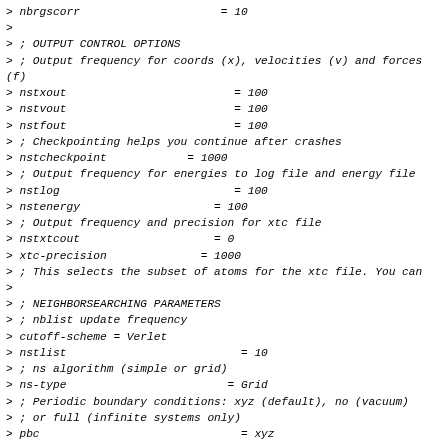> nbrgscorr                     = 10
>
> ; OUTPUT CONTROL OPTIONS
> ; Output frequency for coords (x), velocities (v) and forces (f)
> nstxout                         = 100
> nstvout                         = 100
> nstfout                         = 100
> ; Checkpointing helps you continue after crashes
> nstcheckpoint            = 1000
> ; Output frequency for energies to log file and energy file
> nstlog                          = 100
> nstenergy                    = 100
> ; Output frequency and precision for xtc file
> nstxtcout                    = 0
> xtc-precision              = 1000
> ; This selects the subset of atoms for the xtc file. You can
>
> ; NEIGHBORSEARCHING PARAMETERS
> ; nblist update frequency
> cutoff-scheme = Verlet
> nstlist                          = 10
> ; ns algorithm (simple or grid)
> ns-type                        = Grid
> ; Periodic boundary conditions: xyz (default), no (vacuum)
> ; or full (infinite systems only)
> pbc                              = xyz